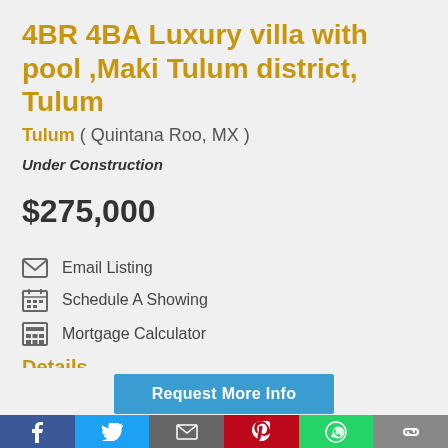4BR 4BA Luxury villa with pool ,Maki Tulum district, Tulum
Tulum ( Quintana Roo, MX )
Under Construction
$275,000
Email Listing
Schedule A Showing
Mortgage Calculator
Details
Request More Info